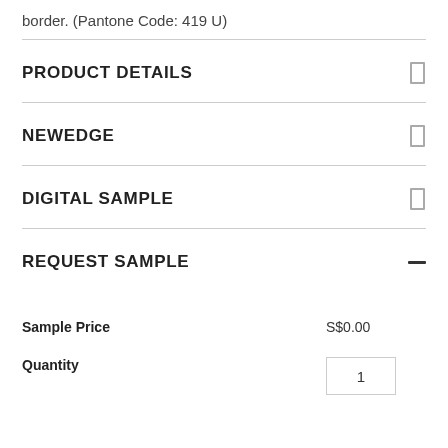border. (Pantone Code: 419 U)
PRODUCT DETAILS
NEWEDGE
DIGITAL SAMPLE
REQUEST SAMPLE
Sample Price	S$0.00
Quantity	1